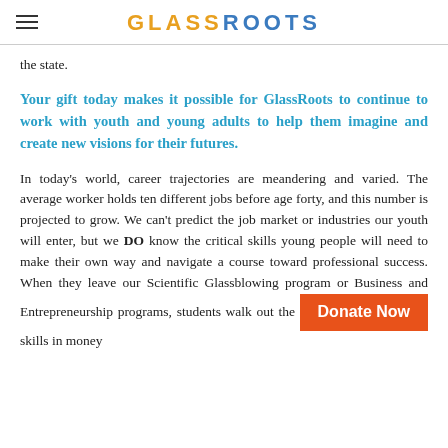GLASSROOTS
the state.
Your gift today makes it possible for GlassRoots to continue to work with youth and young adults to help them imagine and create new visions for their futures.
In today's world, career trajectories are meandering and varied. The average worker holds ten different jobs before age forty, and this number is projected to grow. We can't predict the job market or industries our youth will enter, but we DO know the critical skills young people will need to make their own way and navigate a course toward professional success. When they leave our Scientific Glassblowing program or Business and Entrepreneurship programs, students walk out the [Donate Now] skills in money